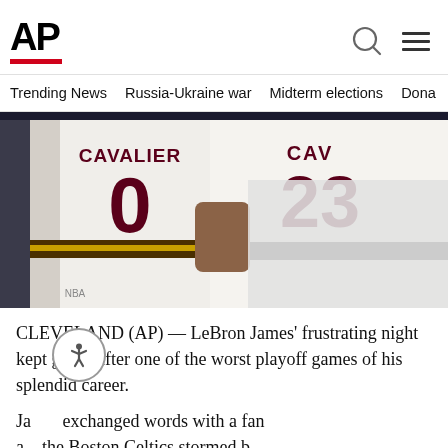AP
Trending News   Russia-Ukraine war   Midterm elections   Dona
[Figure (photo): Two Cleveland Cavaliers players in white uniforms with numbers 0 and 23, standing together on the court. The player on the right is identifiable as LeBron James (#23).]
CLEVELAND (AP) — LeBron James' frustrating night kept going after one of the worst playoff games of his splendid career.
James exchanged words with a fan after the Boston Celtics stormed back from a deficit in the third quarter and sho